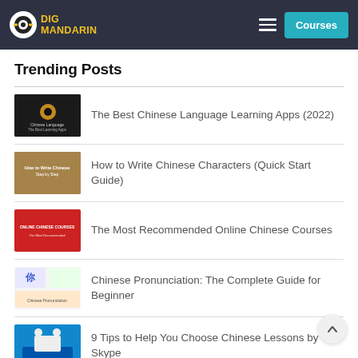Dig Mandarin — Courses
Trending Posts
The Best Chinese Language Learning Apps (2022)
How to Write Chinese Characters (Quick Start Guide)
The Most Recommended Online Chinese Courses
Chinese Pronunciation: The Complete Guide for Beginner
9 Tips to Help You Choose Chinese Lessons by Skype